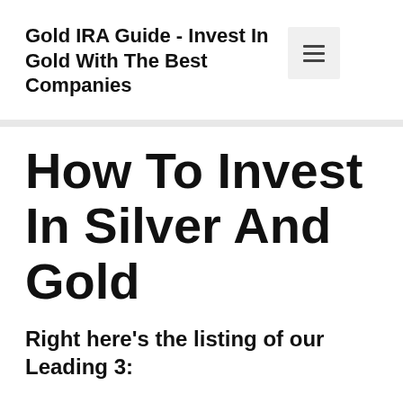Gold IRA Guide - Invest In Gold With The Best Companies
How To Invest In Silver And Gold
Right here's the listing of our Leading 3: